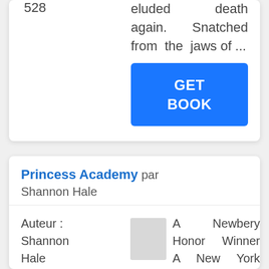528
eluded death again. Snatched from the jaws of ...
GET BOOK
Princess Academy par Shannon Hale
Auteur : Shannon Hale
A Newbery Honor Winner A New York Times Bestseller. In